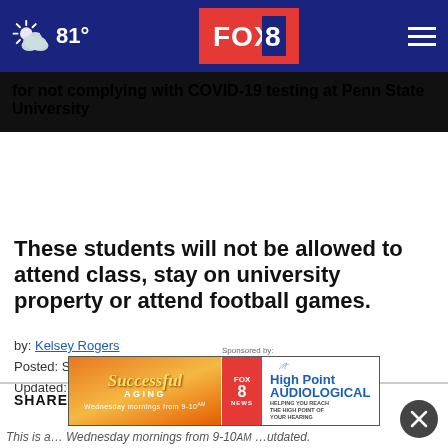81° FOX 8
for not complying with COVID-19 testing at Penn State University
These students will not be allowed to attend class, stay on university property or attend football games.
by: Kelsey Rogers
Posted: Sep 22, 2021 / 09:05 PM EDT
Updated: Sep 22, 2021 / 09:05 PM EDT
SHARE
[Figure (screenshot): FOX 8 News advertisement banner: Successful Aging show on Wednesday mornings from 9-10am, sponsored by High Point Audiological]
This is a... Wednesday mornings from 9-10am ...utdated.